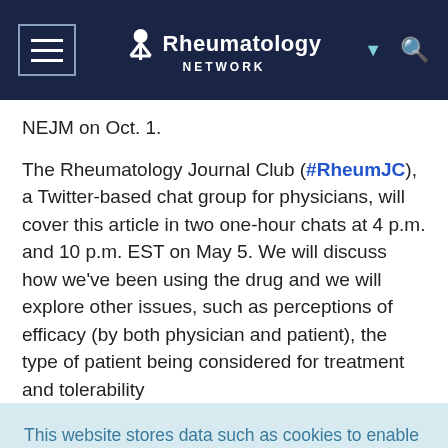Rheumatology Network
NEJM on Oct. 1.
The Rheumatology Journal Club (#RheumJC), a Twitter-based chat group for physicians, will cover this article in two one-hour chats at 4 p.m. and 10 p.m. EST on May 5. We will discuss how we've been using the drug and we will explore other issues, such as perceptions of efficacy (by both physician and patient), the type of patient being considered for treatment and tolerability
This website stores data such as cookies to enable essential site functionality, as well as marketing, personalization, and analytics. Cookie Policy